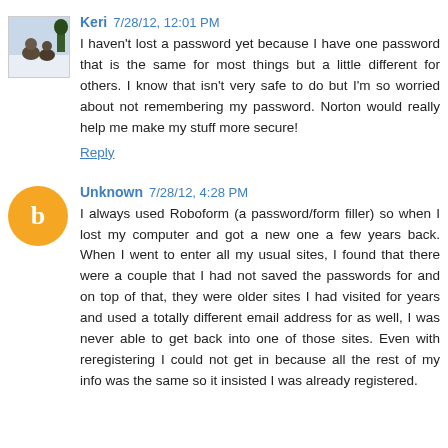Keri 7/28/12, 12:01 PM
I haven't lost a password yet because I have one password that is the same for most things but a little different for others. I know that isn't very safe to do but I'm so worried about not remembering my password. Norton would really help me make my stuff more secure!
Reply
Unknown 7/28/12, 4:28 PM
I always used Roboform (a password/form filler) so when I lost my computer and got a new one a few years back. When I went to enter all my usual sites, I found that there were a couple that I had not saved the passwords for and on top of that, they were older sites I had visited for years and used a totally different email address for as well, I was never able to get back into one of those sites. Even with reregistering I could not get in because all the rest of my info was the same so it insisted I was already registered.